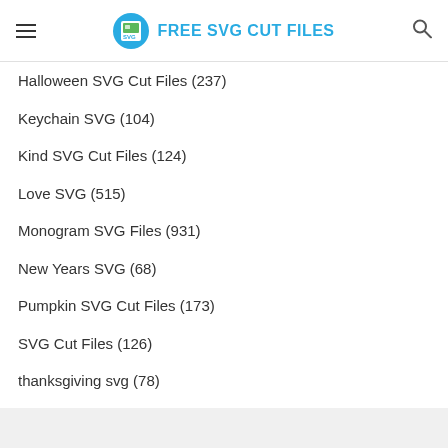FREE SVG CUT FILES
Halloween SVG Cut Files (237)
Keychain SVG (104)
Kind SVG Cut Files (124)
Love SVG (515)
Monogram SVG Files (931)
New Years SVG (68)
Pumpkin SVG Cut Files (173)
SVG Cut Files (126)
thanksgiving svg (78)
Thanksgiving SVG Cut Files (77)
Valentine SVG (562)
Vintage SVG Cut Files (152)